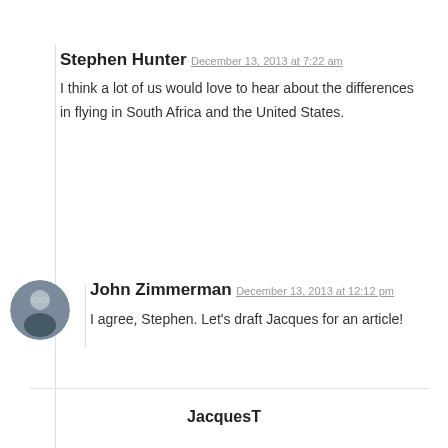Stephen Hunter
December 13, 2013 at 7:22 am
I think a lot of us would love to hear about the differences in flying in South Africa and the United States.
John Zimmerman
December 13, 2013 at 12:12 pm
I agree, Stephen. Let's draft Jacques for an article!
JacquesT